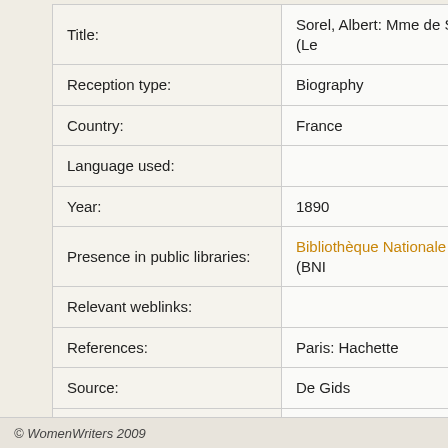| Field | Value |
| --- | --- |
| Title: | Sorel, Albert: Mme de Staël (Le… |
| Reception type: | Biography |
| Country: | France |
| Language used: |  |
| Year: | 1890 |
| Presence in public libraries: | Bibliothèque Nationale FR (BNI… |
| Relevant weblinks: |  |
| References: | Paris: Hachette |
| Source: | De Gids |
| Editors: | Johanneke Straasheijm (update… |
© WomenWriters 2009